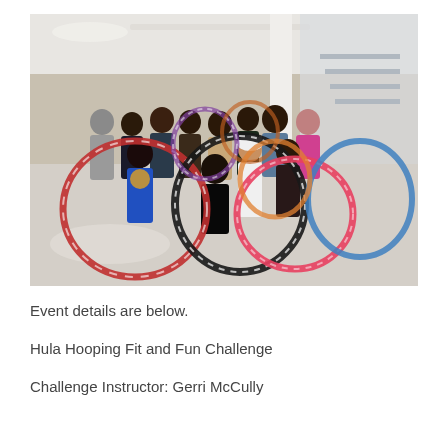[Figure (photo): Group of approximately 13 people posing in a modern indoor space (lobby/atrium) holding colorful hula hoops. The setting has white floors, glass walls, and overhead lighting. People are arranged in two rows, some standing, one kneeling in front. The hula hoops are multicolored: red, blue, and black/white.]
Event details are below.
Hula Hooping Fit and Fun Challenge
Challenge Instructor: Gerri McCully